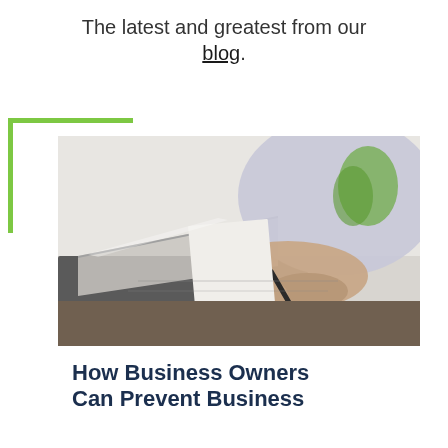The latest and greatest from our blog.
[Figure (photo): Person typing on a laptop at a desk, holding a pen, with papers and a plant in the background.]
How Business Owners Can Prevent Business